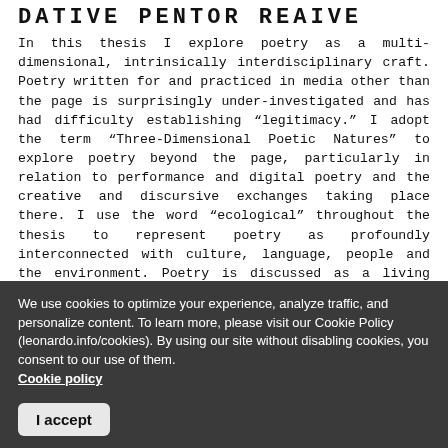DATIVE PENTOR REAIVE
In this thesis I explore poetry as a multi-dimensional, intrinsically interdisciplinary craft. Poetry written for and practiced in media other than the page is surprisingly under-investigated and has had difficulty establishing “legitimacy.” I adopt the term “Three-Dimensional Poetic Natures” to explore poetry beyond the page, particularly in relation to performance and digital poetry and the creative and discursive exchanges taking place there. I use the word “ecological” throughout the thesis to represent poetry as profoundly interconnected with culture, language, people and the environment. Poetry is discussed as a living organism in exchange with the world. A poetics emerging from ecological thinking considers ideas, spatiality, acoustics,
We use cookies to optimize your experience, analyze traffic, and personalize content. To learn more, please visit our Cookie Policy (leonardo.info/cookies). By using our site without disabling cookies, you consent to our use of them.
Cookie policy
I accept